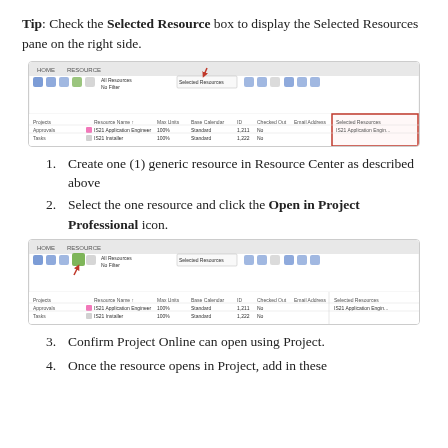Tip: Check the Selected Resource box to display the Selected Resources pane on the right side.
[Figure (screenshot): Screenshot of Resource Center ribbon showing Selected Resources pane highlighted with a red box on the right side, with an arrow pointing to the Selected Resource checkbox]
1. Create one (1) generic resource in Resource Center as described above
2. Select the one resource and click the Open in Project Professional icon.
[Figure (screenshot): Screenshot of Resource Center ribbon showing the Open in Project Professional icon highlighted with a red arrow pointing to it, and Selected Resources pane visible]
3. Confirm Project Online can open using Project.
4. Once the resource opens in Project, add in these